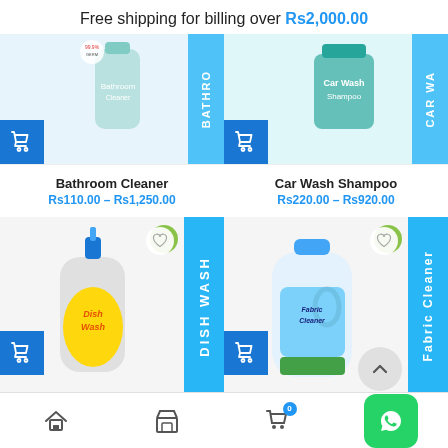Free shipping for billing over Rs2,000.00
[Figure (screenshot): Bathroom Cleaner product thumbnail with cart button and Bathroom label band]
Bathroom Cleaner
Rs110.00 – Rs1,250.00
[Figure (screenshot): Car Wash Shampoo product thumbnail with cart button and CAR WAS label band]
Car Wash Shampoo
Rs220.00 – Rs920.00
[Figure (screenshot): Dish Wash bottle product image with DISH WASH vertical label and heart icon]
Dish Wash
[Figure (screenshot): Fabric Cleaner bottle product image with Fabric Cleaner vertical label and heart icon]
Fabric Cleaner
Home | Shop | Cart (0) | WhatsApp